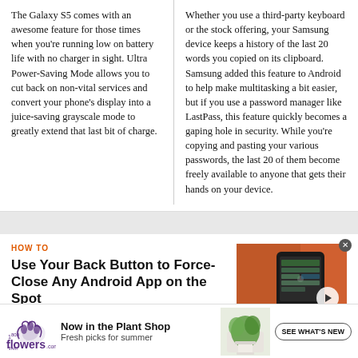The Galaxy S5 comes with an awesome feature for those times when you're running low on battery life with no charger in sight. Ultra Power-Saving Mode allows you to cut back on non-vital services and convert your phone's display into a juice-saving grayscale mode to greatly extend that last bit of charge.
Whether you use a third-party keyboard or the stock offering, your Samsung device keeps a history of the last 20 words you copied on its clipboard. Samsung added this feature to Android to help make multitasking a bit easier, but if you use a password manager like LastPass, this feature quickly becomes a gaping hole in security. While you're copying and pasting your various passwords, the last 20 of them become freely available to anyone that gets their hands on your device.
HOW TO
Use Your Back Button to Force-Close Any Android App on the Spot
[Figure (photo): Thumbnail image of an Android smartphone on an orange background with a play button overlay]
[Figure (logo): 1-800-flowers.com logo in purple and green]
Now in the Plant Shop
Fresh picks for summer
[Figure (photo): Plant in white pot advertisement image]
SEE WHAT'S NEW